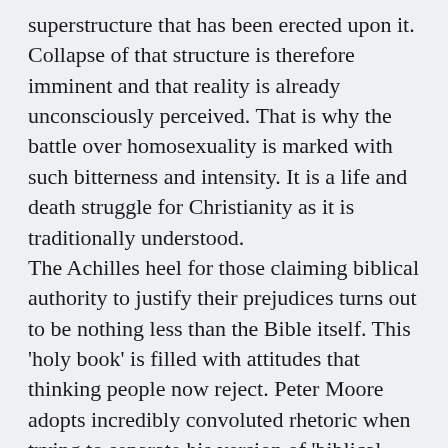superstructure that has been erected upon it. Collapse of that structure is therefore imminent and that reality is already unconsciously perceived. That is why the battle over homosexuality is marked with such bitterness and intensity. It is a life and death struggle for Christianity as it is traditionally understood.
The Achilles heel for those claiming biblical authority to justify their prejudices turns out to be nothing less than the Bible itself. This 'holy book' is filled with attitudes that thinking people now reject. Peter Moore adopts incredibly convoluted rhetoric when trying to separate his version of 'biblical morality' from the other texts he does not wish to defend. That always happens when authority systems die. In this series I will let the Bible speak for itself and ask 21st century Christians to judge the credibility of the ancient claim that the Bible